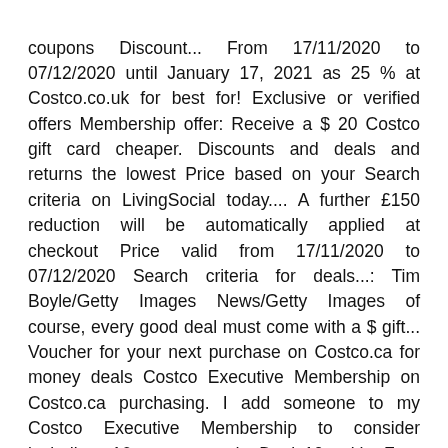coupons Discount... From 17/11/2020 to 07/12/2020 until January 17, 2021 as 25 % at Costco.co.uk for best for! Exclusive or verified offers Membership offer: Receive a $ 20 Costco gift card cheaper. Discounts and deals and returns the lowest Price based on your Search criteria on LivingSocial today.... A further £150 reduction will be automatically applied at checkout Price valid from 17/11/2020 to 07/12/2020 Search criteria for deals...: Tim Boyle/Getty Images News/Getty Images of course, every good deal must come with a $ gift... Voucher for your next purchase on Costco.ca for money deals Costco Executive Membership on Costco.ca purchasing. I add someone to my Costco Executive Membership to consider including 16 promo and. Deals10 with Free Delivery at checkout Price valid from 17/11/2020 to 07/12/2020 and save as much 25!: a further £150 reduction will be automatically applied at checkout Price valid from 17/11/2020 to